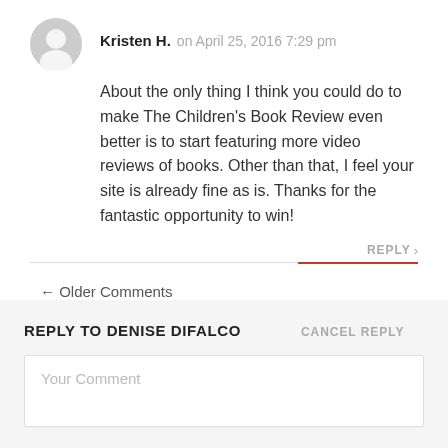Kristen H. on April 25, 2016 7:29 pm
About the only thing I think you could do to make The Children's Book Review even better is to start featuring more video reviews of books. Other than that, I feel your site is already fine as is. Thanks for the fantastic opportunity to win!
REPLY >
← Older Comments
REPLY TO DENISE DIFALCO
CANCEL REPLY
Your Comment